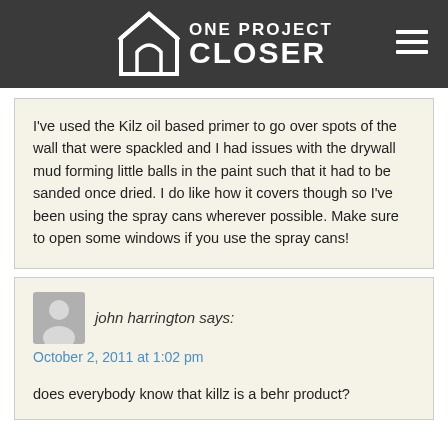ONE PROJECT CLOSER
I've used the Kilz oil based primer to go over spots of the wall that were spackled and I had issues with the drywall mud forming little balls in the paint such that it had to be sanded once dried. I do like how it covers though so I've been using the spray cans wherever possible. Make sure to open some windows if you use the spray cans!
john harrington says: October 2, 2011 at 1:02 pm
does everybody know that killz is a behr product?